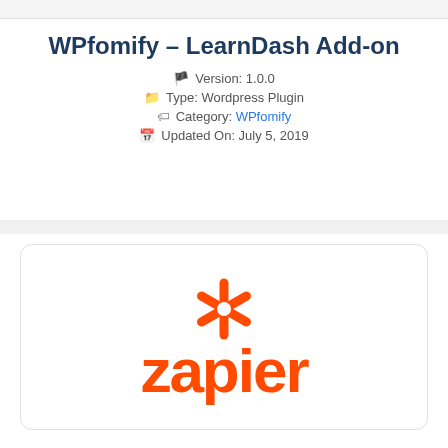WPfomify – LearnDash Add-on
Version: 1.0.0
Type: Wordpress Plugin
Category: WPfomify
Updated On: July 5, 2019
[Figure (logo): Zapier logo — orange asterisk symbol above the word 'zapier' in orange bold text, displayed inside a rounded white card with a light border]